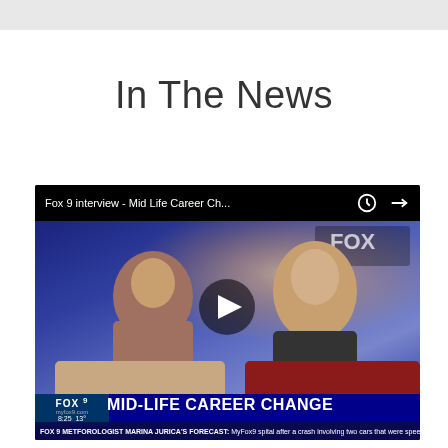In The News
[Figure (screenshot): YouTube video thumbnail showing a Fox 9 news interview titled 'Fox 9 interview - Mid Life Career Ch...' with two women seated on a TV set. The lower third shows 'FOX 9 MID-LIFE CAREER CHANGE' and a ticker reading 'FOX 9 METFOROLOGIST MARINA JURICA'S FORECAST: MyFox9 spital after a crash involving two cars that were speeding in the same direction on a 5'. A play button is centered on the thumbnail.]